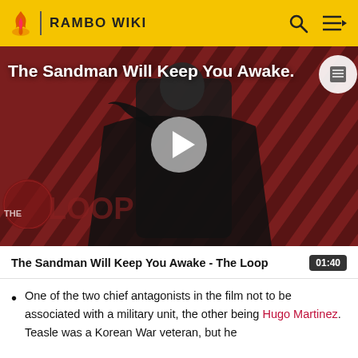RAMBO WIKI
[Figure (screenshot): Video thumbnail for 'The Sandman Will Keep You Awake - The Loop' showing a dark-cloaked figure against a red and black striped background with 'THE LOOP' watermark and a play button overlay]
The Sandman Will Keep You Awake - The Loop  01:40
One of the two chief antagonists in the film not to be associated with a military unit, the other being Hugo Martinez. Teasle was a Korean War veteran, but he